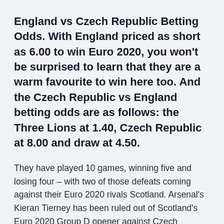England vs Czech Republic Betting Odds. With England priced as short as 6.00 to win Euro 2020, you won't be surprised to learn that they are a warm favourite to win here too. And the Czech Republic vs England betting odds are as follows: the Three Lions at 1.40, Czech Republic at 8.00 and draw at 4.50.
They have played 10 games, winning five and losing four – with two of those defeats coming against their Euro 2020 rivals Scotland. Arsenal's Kieran Tierney has been ruled out of Scotland's Euro 2020 Group D opener against Czech Republic at Hampden Park this afternoon. The defender is not even named on the